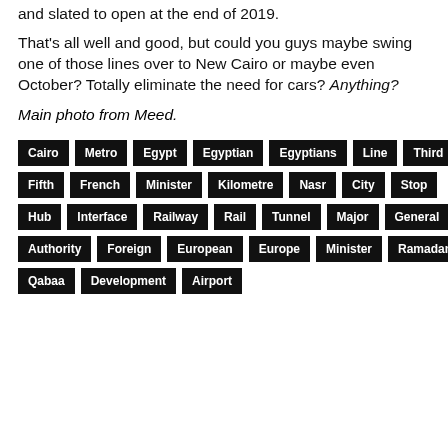and slated to open at the end of 2019.
That's all well and good, but could you guys maybe swing one of those lines over to New Cairo or maybe even October? Totally eliminate the need for cars? Anything?
Main photo from Meed.
Cairo
Metro
Egypt
Egyptian
Egyptians
Line
Third
Fifth
French
Minister
Kilometre
Nasr
City
Stop
Hub
Interface
Railway
Rail
Tunnel
Major
General
Authority
Foreign
European
Europe
Minister
Ramadan
Qabaa
Development
Airport